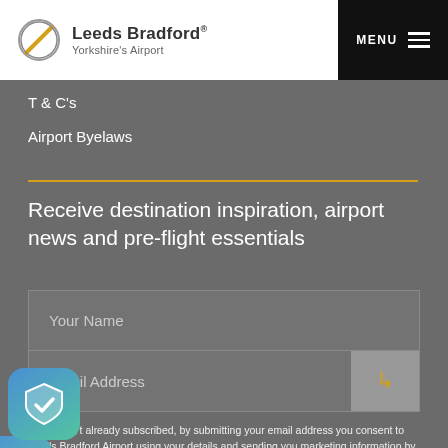[Figure (logo): Leeds Bradford Yorkshire's Airport logo with circular icon and text, plus MENU button on right]
T & C's
Airport Byelaws
Receive destination inspiration, airport news and pre-flight essentials
Your Name
Email Address
If you aren't already subscribed, by submitting your email address you consent to Leeds Bradford Airport using your details and sending you marketing information by email. For more information on how we use your personal details, please refer to our Privacy Policy and Cookie Policy